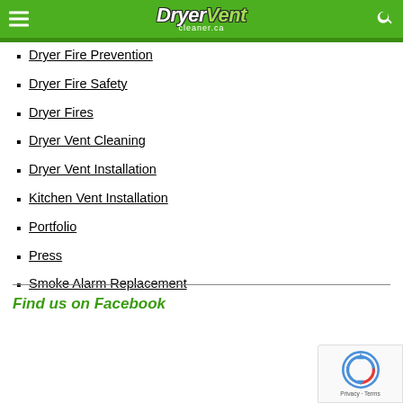DryerVent cleaner.ca
Dryer Fire Prevention
Dryer Fire Safety
Dryer Fires
Dryer Vent Cleaning
Dryer Vent Installation
Kitchen Vent Installation
Portfolio
Press
Smoke Alarm Replacement
Find us on Facebook
[Figure (other): Google reCAPTCHA badge with privacy and terms links]